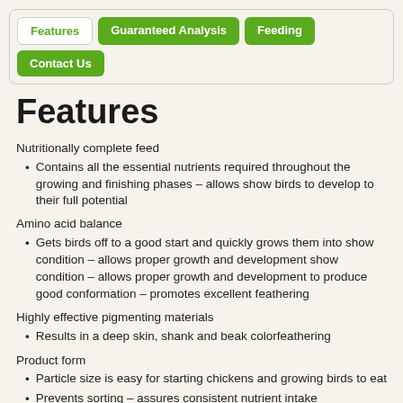Features | Guaranteed Analysis | Feeding | Contact Us
Features
Nutritionally complete feed
Contains all the essential nutrients required throughout the growing and finishing phases – allows show birds to develop to their full potential
Amino acid balance
Gets birds off to a good start and quickly grows them into show condition – allows proper growth and development show condition – allows proper growth and development to produce good conformation – promotes excellent feathering
Highly effective pigmenting materials
Results in a deep skin, shank and beak colorfeathering
Product form
Particle size is easy for starting chickens and growing birds to eat
Prevents sorting – assures consistent nutrient intake
Reduces feed wastage